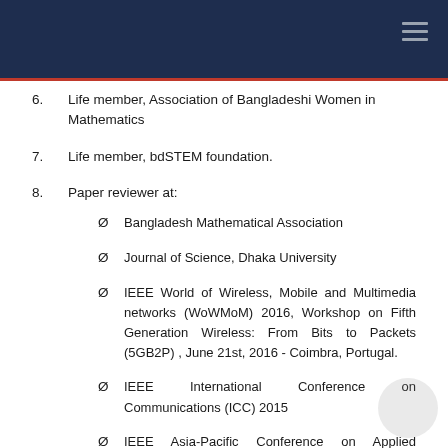6.   Life member, Association of Bangladeshi Women in Mathematics
7.   Life member, bdSTEM foundation.
8.   Paper reviewer at:
Ø  Bangladesh Mathematical Association
Ø  Journal of Science, Dhaka University
Ø  IEEE World of Wireless, Mobile and Multimedia networks (WoWMoM) 2016, Workshop on Fifth Generation Wireless: From Bits to Packets (5GB2P) , June 21st, 2016 - Coimbra, Portugal.
Ø  IEEE International Conference on Communications (ICC) 2015
Ø  IEEE Asia-Pacific Conference on Applied Electromagnetic (APACE) 2014
Ø  IEEE Global Communications Conference (GLOBECOM)